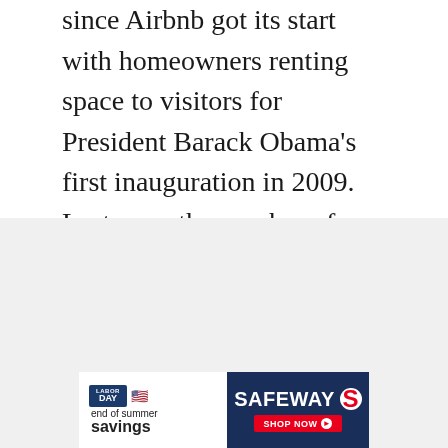since Airbnb got its start with homeowners renting space to visitors for President Barack Obama's first inauguration in 2009. Last year, the number of Airbnb guest arrivals jumped almost 80 percent, from 160,000 to 287,000. The number of people who hosted at least one trip rose from 3,900 to 4,900.
[Figure (advertisement): Safeway Labor Day end of summer savings advertisement banner. Left side white background with 'LABOR DAY' badge and text 'end of summer savings'. Right side dark navy background with SAFEWAY logo and red 'SHOP NOW' button.]